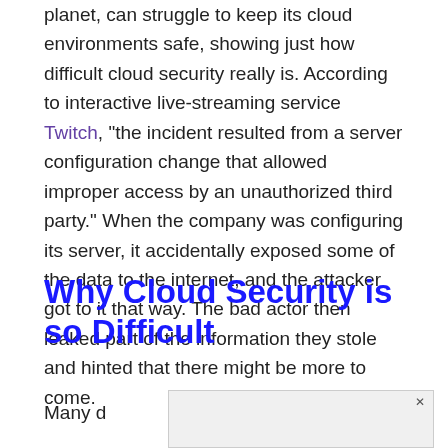planet, can struggle to keep its cloud environments safe, showing just how difficult cloud security really is. According to interactive live-streaming service Twitch, "the incident resulted from a server configuration change that allowed improper access by an unauthorized third party." When the company was configuring its server, it accidentally exposed some of the data to the internet, and the attacker got to it that way. The bad actor then leaked part of the information they stole and hinted that there might be more to come.
Why Cloud Security is so Difficult
Many d... d so d...